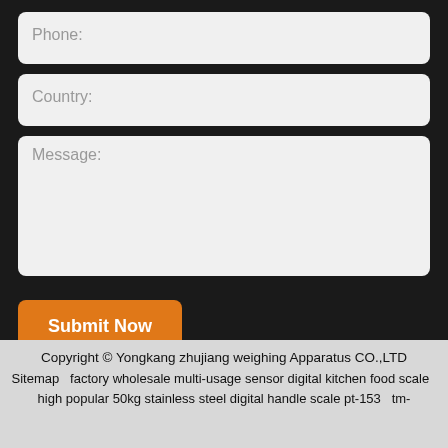Phone:
Country:
Message:
Submit Now
Copyright © Yongkang zhujiang weighing Apparatus CO.,LTD Sitemap   factory wholesale multi-usage sensor digital kitchen food scale   high popular 50kg stainless steel digital handle scale pt-153   tm-